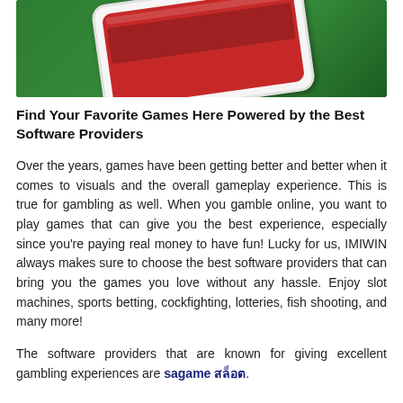[Figure (photo): Cropped top portion of a smartphone displayed on a green background, resembling a casino/gambling table surface. The phone screen shows a red interface.]
Find Your Favorite Games Here Powered by the Best Software Providers
Over the years, games have been getting better and better when it comes to visuals and the overall gameplay experience. This is true for gambling as well. When you gamble online, you want to play games that can give you the best experience, especially since you're paying real money to have fun! Lucky for us, IMIWIN always makes sure to choose the best software providers that can bring you the games you love without any hassle. Enjoy slot machines, sports betting, cockfighting, lotteries, fish shooting, and many more!
The software providers that are known for giving excellent gambling experiences are sagame สล็อต.